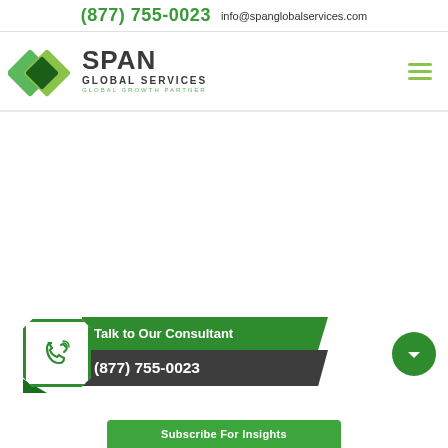(877) 755-0023  info@spanglobalservices.com
[Figure (logo): Span Global Services logo with green diamond shapes and text SPAN GLOBAL SERVICES GLOBAL GROWTH PARTNER]
Talk to Our Consultant
(877) 755-0023
Subscribe For Insights